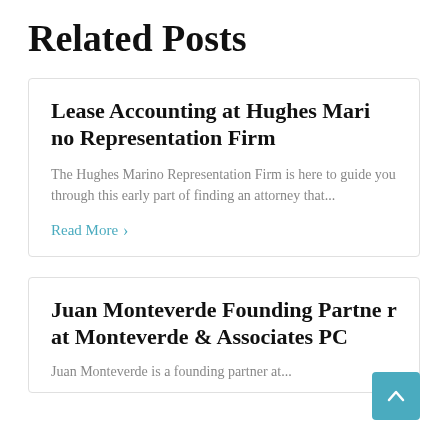Related Posts
Lease Accounting at Hughes Marino Representation Firm
The Hughes Marino Representation Firm is here to guide you through this early part of finding an attorney that...
Read More ›
Juan Monteverde Founding Partner at Monteverde & Associates PC
Juan Monteverde is a founding partner at...